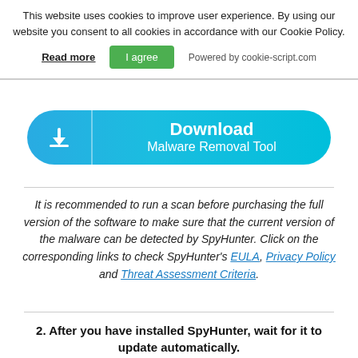This website uses cookies to improve user experience. By using our website you consent to all cookies in accordance with our Cookie Policy.
Read more | I agree | Powered by cookie-script.com
[Figure (other): Download Malware Removal Tool button - a rounded pill-shaped cyan/blue button with download arrow icon on the left and bold text 'Download Malware Removal Tool' on the right]
It is recommended to run a scan before purchasing the full version of the software to make sure that the current version of the malware can be detected by SpyHunter. Click on the corresponding links to check SpyHunter's EULA, Privacy Policy and Threat Assessment Criteria.
2. After you have installed SpyHunter, wait for it to update automatically.